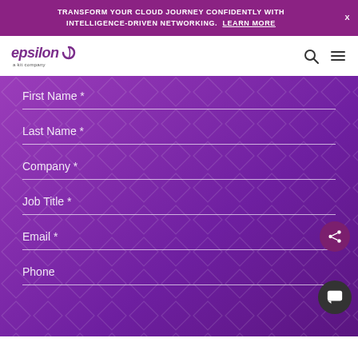TRANSFORM YOUR CLOUD JOURNEY CONFIDENTLY WITH INTELLIGENCE-DRIVEN NETWORKING. LEARN MORE  X
[Figure (logo): Epsilon logo - 'epsilon' text with stylized 'e' swoosh and 'a kit company' subtitle, navigation icons for search and hamburger menu]
First Name *
Last Name *
Company *
Job Title *
Email *
Phone